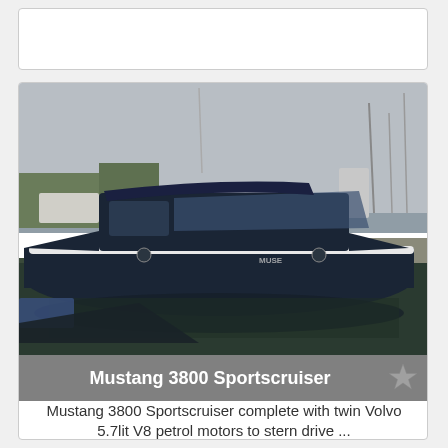[Figure (photo): A dark navy blue Mustang 3800 Sportscruiser motorboat docked at a marina, with other boats and masts visible in the background under an overcast sky.]
Mustang 3800 Sportscruiser
Mustang 3800 Sportscruiser complete with twin Volvo 5.7lit V8 petrol motors to stern drive ...